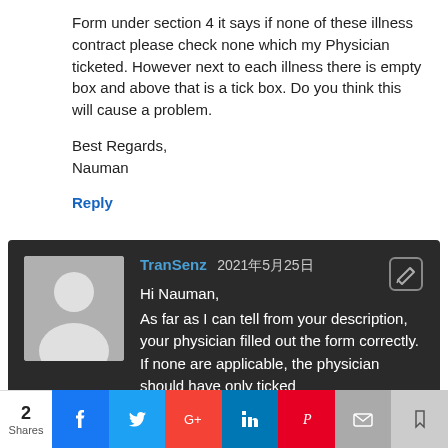Form under section 4 it says if none of these illness contract please check none which my Physician ticketed. However next to each illness there is empty box and above that is a tick box. Do you think this will cause a problem.
Best Regards,
Nauman
Reply
[Figure (other): Dark comment card with avatar placeholder (grey silhouette), username TranSenz, date 2021年5月25日, edit icon, greeting Hi Nauman, and body text about physician filling out form correctly.]
Hi Nauman,
As far as I can tell from your description, your physician filled out the form correctly. If none are applicable, the physician should have only ticked
2 Shares | Facebook | Twitter | Google+ | LinkedIn | Pinterest | Email | Bookmark